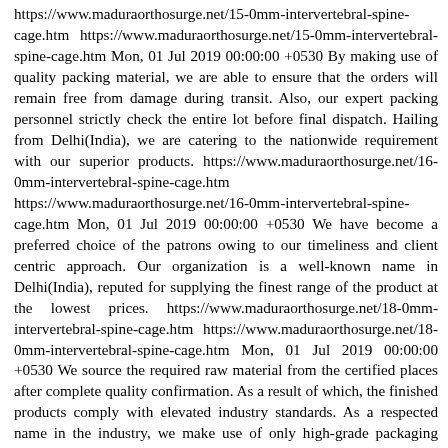https://www.maduraorthosurge.net/15-0mm-intervertebral-spine-cage.htm https://www.maduraorthosurge.net/15-0mm-intervertebral-spine-cage.htm Mon, 01 Jul 2019 00:00:00 +0530 By making use of quality packing material, we are able to ensure that the orders will remain free from damage during transit. Also, our expert packing personnel strictly check the entire lot before final dispatch. Hailing from Delhi(India), we are catering to the nationwide requirement with our superior products. https://www.maduraorthosurge.net/16-0mm-intervertebral-spine-cage.htm https://www.maduraorthosurge.net/16-0mm-intervertebral-spine-cage.htm Mon, 01 Jul 2019 00:00:00 +0530 We have become a preferred choice of the patrons owing to our timeliness and client centric approach. Our organization is a well-known name in Delhi(India), reputed for supplying the finest range of the product at the lowest prices. https://www.maduraorthosurge.net/18-0mm-intervertebral-spine-cage.htm https://www.maduraorthosurge.net/18-0mm-intervertebral-spine-cage.htm Mon, 01 Jul 2019 00:00:00 +0530 We source the required raw material from the certified places after complete quality confirmation. As a result of which, the finished products comply with elevated industry standards. As a respected name in the industry, we make use of only high-grade packaging material for the safe packing of the products. Thus, we ensure zero damage at buyer's end. https://www.maduraorthosurge.net/rod-bender-roller.htm https://www.maduraorthosurge.net/rod-bender-